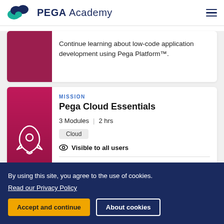PEGA Academy
Continue learning about low-code application development using Pega Platform™.
MISSION
Pega Cloud Essentials
3 Modules | 2 hrs
Cloud
Visible to all users
By using this site, you agree to the use of cookies. Read our Privacy Policy
Accept and continue
About cookies